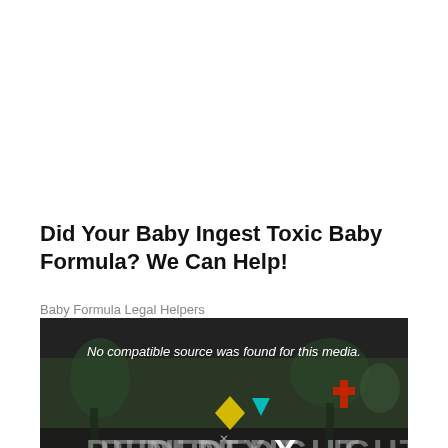Did Your Baby Ingest Toxic Baby Formula? We Can Help!
Baby Formula Legal Helpers
[Figure (screenshot): Video player showing 'No compatible source was found for this media.' message overlaid on a dark outdoor background scene with colorful PlayStation-style shapes and large text 'PEDI DELIGHT' with an X close button.]